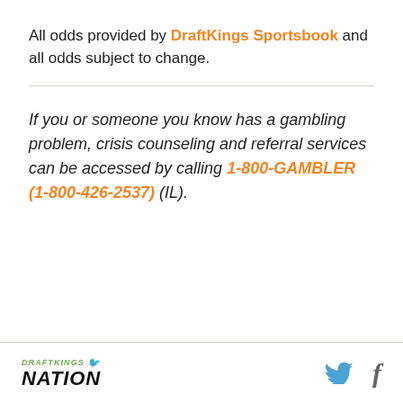All odds provided by DraftKings Sportsbook and all odds subject to change.
If you or someone you know has a gambling problem, crisis counseling and referral services can be accessed by calling 1-800-GAMBLER (1-800-426-2537) (IL).
DRAFTKINGS NATION | Twitter | Facebook